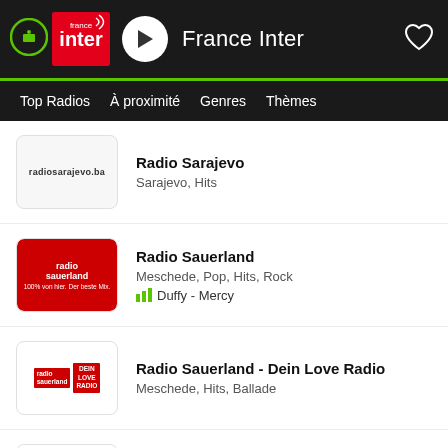France Inter
Top Radios  À proximité  Genres  Thèmes
Radio Sarajevo
Sarajevo, Hits
Radio Sauerland
Meschede, Pop, Hits, Rock
Duffy - Mercy
Radio Sauerland - Dein Love Radio
Meschede, Hits, Ballade
Radio Sauerland - Dein Weihnachts Radio
Meschede, Hits, Pop